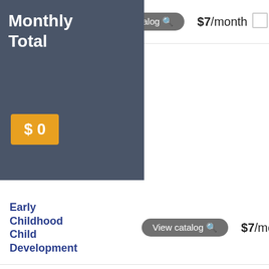Visual Art
View catalog
$7/month
Monthly Total
$0
Early Childhood Child Development
View catalog
$7/month
Early Childhood Music
View catalog
$7/month
Early Childhood Mathematics
View catalog
$7/month
Early Childhood
View catalog
$7/month